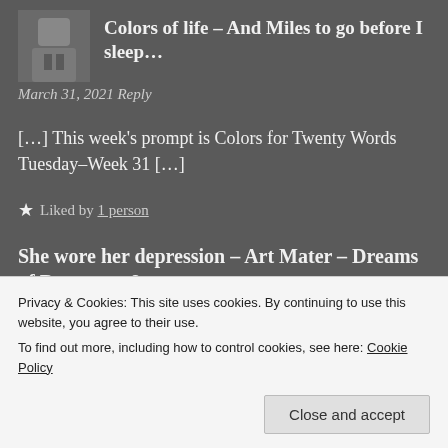[Figure (photo): Small avatar photo of a person, appears to be a grayscale/dark photo]
Colors of life – And Miles to go before I sleep…
March 31, 2021 Reply
[…] This week's prompt is Colors for Twenty Words Tuesday–Week 31 […]
★ Liked by 1 person
She wore her depression – Art Mater – Dreams of Dreamers & etc
Privacy & Cookies: This site uses cookies. By continuing to use this website, you agree to their use.
To find out more, including how to control cookies, see here: Cookie Policy
Close and accept